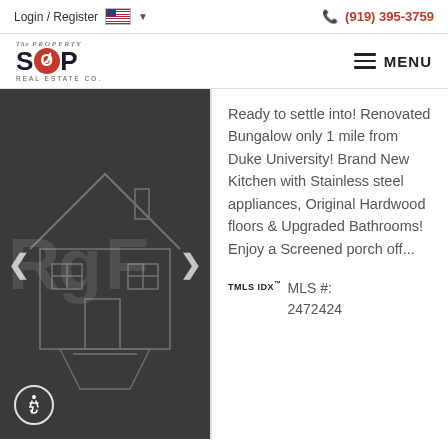Login / Register  (919) 395-3759
[Figure (logo): The Property Shop Real Estate Co. logo with red circle O containing a compass needle]
MENU
[Figure (photo): Dark grayscale image of a house/bungalow exterior with navigation arrows on left and right sides]
Ready to settle into! Renovated Bungalow only 1 mile from Duke University! Brand New Kitchen with Stainless steel appliances, Original Hardwood floors & Upgraded Bathrooms! Enjoy a Screened porch off...
TMLS IDX™ MLS #: 2472424